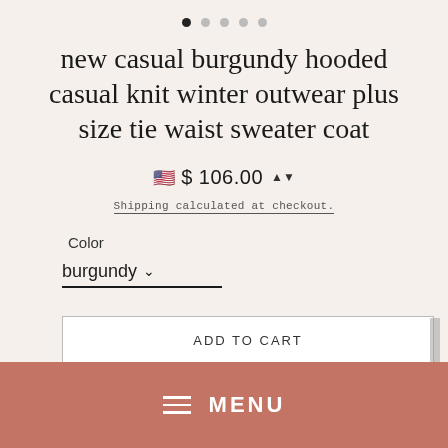[Figure (other): Pagination dots row with 5 dots, first dot filled/active, rest grey]
new casual burgundy hooded casual knit winter outwear plus size tie waist sweater coat
$ 106.00
Shipping calculated at checkout.
Color
burgundy
ADD TO CART
MENU